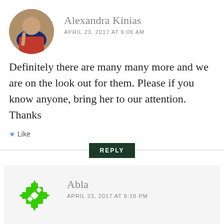[Figure (photo): Circular avatar photo of Alexandra Kinias, showing a person in red top]
Alexandra Kinias
APRIL 23, 2017 AT 6:06 AM
Definitely there are many many more and we are on the look out for them. Please if you know anyone, bring her to our attention. Thanks
Like
REPLY
[Figure (logo): Green puzzle-piece style icon for user Abla]
Abla
APRIL 23, 2017 AT 8:18 PM
Dr Sara Ahmed